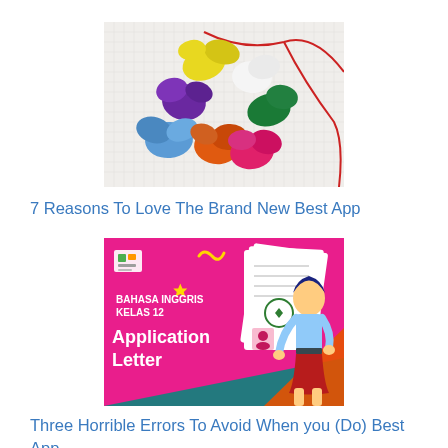[Figure (photo): Colorful fabric flowers or craft pieces in yellow, purple, blue, orange, pink, green, white on a white textured background with a red string/ribbon]
7 Reasons To Love The Brand New Best App
[Figure (photo): Pink educational banner/poster showing 'BAHASA INGGRIS KELAS 12 Application Letter' with illustration of a woman and document papers]
Three Horrible Errors To Avoid When you (Do) Best App